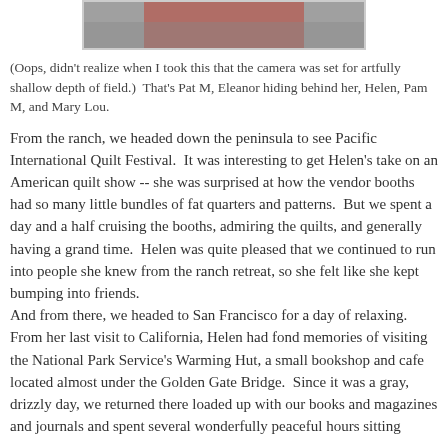[Figure (photo): Partial photo showing people at what appears to be a ranch or similar setting, cut off at top of page.]
(Oops, didn't realize when I took this that the camera was set for artfully shallow depth of field.)  That's Pat M, Eleanor hiding behind her, Helen, Pam M, and Mary Lou.
From the ranch, we headed down the peninsula to see Pacific International Quilt Festival.  It was interesting to get Helen's take on an American quilt show -- she was surprised at how the vendor booths had so many little bundles of fat quarters and patterns.  But we spent a day and a half cruising the booths, admiring the quilts, and generally having a grand time.  Helen was quite pleased that we continued to run into people she knew from the ranch retreat, so she felt like she kept bumping into friends.
And from there, we headed to San Francisco for a day of relaxing.  From her last visit to California, Helen had fond memories of visiting the National Park Service's Warming Hut, a small bookshop and cafe located almost under the Golden Gate Bridge.  Since it was a gray, drizzly day, we returned there loaded up with our books and magazines and journals and spent several wonderfully peaceful hours sitting